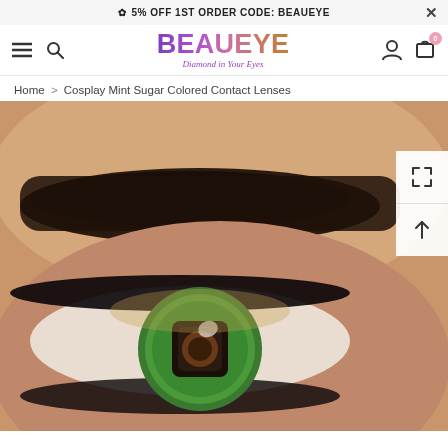✿ 5% OFF 1ST ORDER CODE: BEAUEYE  ×
[Figure (logo): BEAUEYE logo with gradient text (purple to gold) and tagline 'Diamond in Your Eyes' in purple italic]
Home > Cosplay Mint Sugar Colored Contact Lenses
[Figure (photo): Close-up photo of a human eye wearing a green cosplay contact lens with a squared pupil design, surrounded by long dark lashes and a groomed eyebrow]